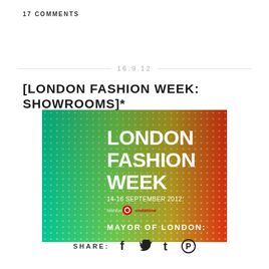17 COMMENTS
16.9.12
[LONDON FASHION WEEK: SHOWROOMS]*
[Figure (photo): London Fashion Week banner with green-to-red gradient dotted pattern background. Text reads 'LONDON FASHION WEEK 14-16 SEPTEMBER 2012' with Vodafone logo and 'MAYOR OF LONDON' text at the bottom.]
SHARE: